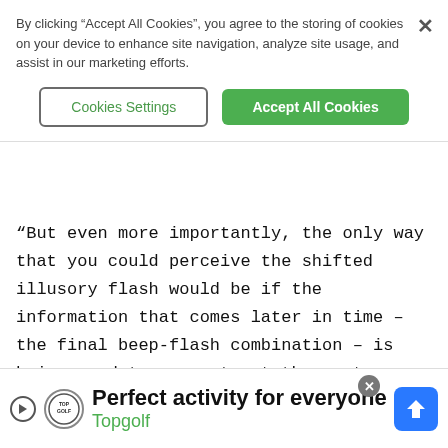By clicking “Accept All Cookies”, you agree to the storing of cookies on your device to enhance site navigation, analyze site usage, and assist in our marketing efforts.
Cookies Settings | Accept All Cookies
"But even more importantly, the only way that you could perceive the shifted illusory flash would be if the information that comes later in time – the final beep-flash combination – is being used to reconstruct the most likely location of the illusory flash as well," she added.
Similar shenanigans lie behind the research team's
[Figure (infographic): Advertisement banner for Topgolf: 'Perfect activity for everyone' with Topgolf logo, play button icon, navigation arrow icon, and close button.]